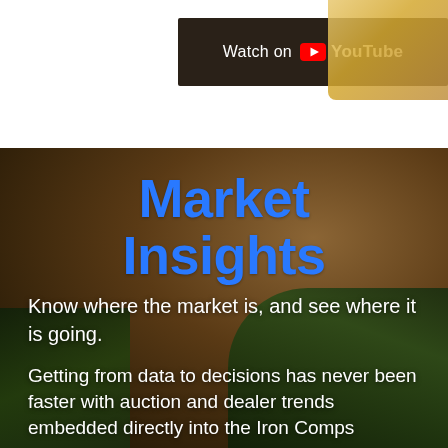[Figure (screenshot): YouTube 'Watch on YouTube' button/banner on white background with dark brown background bar]
[Figure (photo): Aerial view of agricultural harvesting equipment (green combine) on brown soil/grain field, used as background for Market Insights section]
Market Insights
Know where the market is, and see where it is going.
Getting from data to decisions has never been faster with auction and dealer trends embedded directly into the Iron Comps